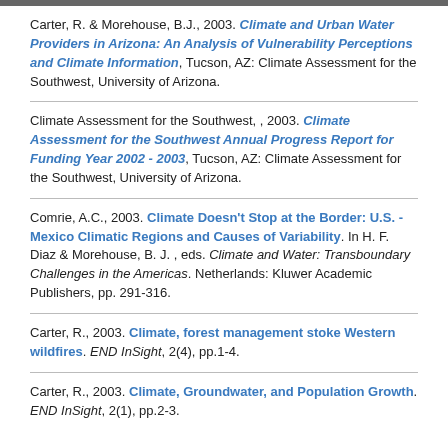Carter, R. & Morehouse, B.J., 2003. Climate and Urban Water Providers in Arizona: An Analysis of Vulnerability Perceptions and Climate Information, Tucson, AZ: Climate Assessment for the Southwest, University of Arizona.
Climate Assessment for the Southwest, , 2003. Climate Assessment for the Southwest Annual Progress Report for Funding Year 2002 - 2003, Tucson, AZ: Climate Assessment for the Southwest, University of Arizona.
Comrie, A.C., 2003. Climate Doesn't Stop at the Border: U.S. - Mexico Climatic Regions and Causes of Variability. In H. F. Diaz & Morehouse, B. J. , eds. Climate and Water: Transboundary Challenges in the Americas. Netherlands: Kluwer Academic Publishers, pp. 291-316.
Carter, R., 2003. Climate, forest management stoke Western wildfires. END InSight, 2(4), pp.1-4.
Carter, R., 2003. Climate, Groundwater, and Population Growth. END InSight, 2(1), pp.2-3.